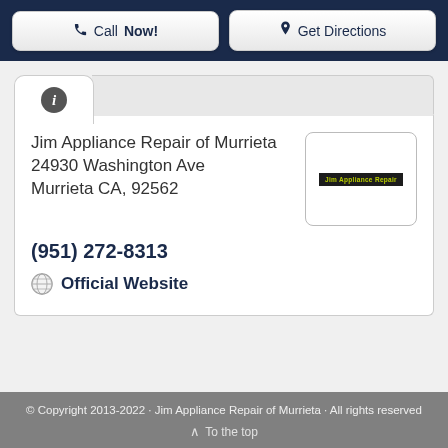Call Now! | Get Directions
Jim Appliance Repair of Murrieta
24930 Washington Ave
Murrieta CA, 92562
[Figure (logo): Jim Appliance Repair logo — dark background with yellow-green text]
(951) 272-8313
Official Website
© Copyright 2013-2022 · Jim Appliance Repair of Murrieta · All rights reserved
^ To the top